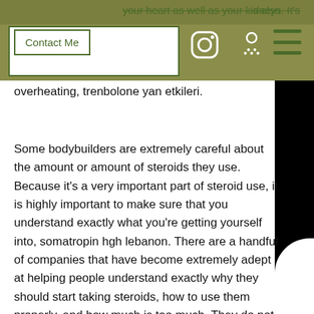your heart as well as your kidneys. It's also worth knowing that the body has many built-in mechanisms to prevent the body from overheating, trenbolone yan etkileri.
Some bodybuilders are extremely careful about the amount or amount of steroids they use. Because it's a very important part of steroid use, it is highly important to make sure that you understand exactly what you're getting yourself into, somatropin hgh lebanon. There are a handful of companies that have become extremely adept at helping people understand exactly why they should start taking steroids, how to use them properly, and how much is too much. They do not give you exact dosages or recommend that you take them in large amounts. Instead, the company uses a number of simple tips so that you will be able to make sure that the dosage that you take